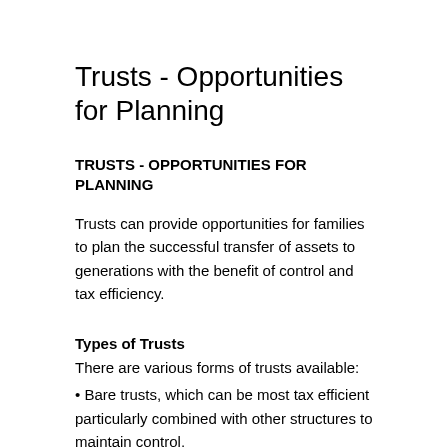Trusts - Opportunities for Planning
TRUSTS - OPPORTUNITIES FOR PLANNING
Trusts can provide opportunities for families to plan the successful transfer of assets to generations with the benefit of control and tax efficiency.
Types of Trusts
There are various forms of trusts available:
• Bare trusts, which can be most tax efficient particularly combined with other structures to maintain control.
• Life interest trusts, which can protect assets for the